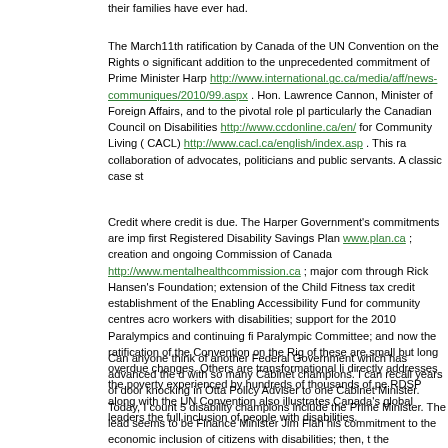their families have ever had.
The March11th ratification by Canada of the UN Convention on the Rights of significant addition to the unprecedented commitment of Prime Minister Harp http://www.international.gc.ca/media/aff/news-communiques/2010/99.aspx . Hon. Lawrence Cannon, Minister of Foreign Affairs, and to the pivotal role pl particularly the Canadian Council on Disabilities http://www.ccdonline.ca/en/ for Community Living ( CACL) http://www.cacl.ca/english/index.asp . This ra collaboration of advocates, politicians and public servants. A classic case st
Credit where credit is due. The Harper Government's commitments are imp first Registered Disability Savings Plan www.plan.ca ; creation and ongoing Commission of Canada http://www.mentalhealthcommission.ca ; major com through Rick Hansen's Foundation; extension of the Child Fitness tax credit establishment of the Enabling Accessibility Fund for community centres acro workers with disabilities; support for the 2010 Paralympics and continuing fi Paralympic Committee; and now the ratification of the Convention on the Rig of these are small but long overdue changes. Others are transformational li directly addresses the poverty experienced by hundreds of thousands of pe RDSP along with the UN Convention also illustrates Canada's global leaders the full inclusion of people with disabilities.
Can anyone think of another Federal Government which has advanced the d with so many Cabinet champions. I can recall years of door knocking in Otta Policy Adviser to one Cabinet Minister. Today, I count 5 disability champions include the Prime Minister. The lead seems to be Finance Minister Jim Flah his commitment to the economic inclusion of citizens with disabilities; then, t the Convention as Foreign Minister and continued to demonstrate leadership of National Defense. Next, the Hon. Lawrence Cannon who kept up the mo Provinces and Territories on board and ensuring it was signed the day befor from 45 countries to Vancouver. Then the Hon. Diane Finley who has exper of these initiatives through her department, Human Resources and Skills De Stephen Fletcher who demonstrates that enabling the contributions of all pe